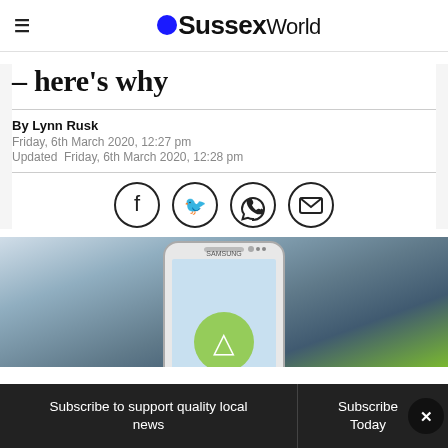≡ Sussex World
– here's why
By Lynn Rusk
Friday, 6th March 2020, 12:27 pm
Updated  Friday, 6th March 2020, 12:28 pm
[Figure (illustration): Four social sharing icons in circles: Facebook, Twitter, WhatsApp, Email]
[Figure (photo): A hand holding a Samsung Android smartphone against a blurred background]
Subscribe to support quality local news  |  Subscribe Today